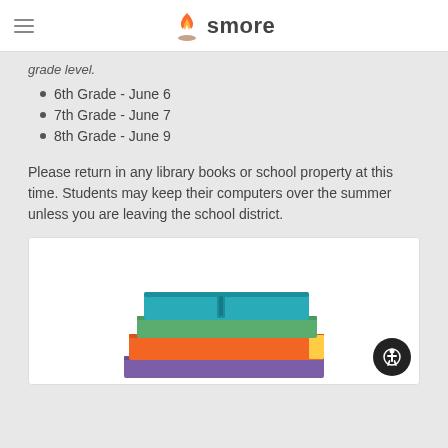smore
grade level.
6th Grade - June 6
7th Grade - June 7
8th Grade - June 9
Please return in any library books or school property at this time. Students may keep their computers over the summer unless you are leaving the school district.
[Figure (illustration): Stack of colorful library books illustration - teal, orange, green, purple books stacked on top of each other]